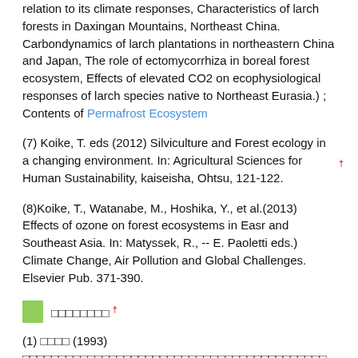relation to its climate responses, Characteristics of larch forests in Daxingan Mountains, Northeast China. Carbondynamics of larch plantations in northeastern China and Japan, The role of ectomycorrhiza in boreal forest ecosystem, Effects of elevated CO2 on ecophysiological responses of larch species native to Northeast Eurasia.) ; Contents of Permafrost Ecosystem
(7) Koike, T. eds (2012) Silviculture and Forest ecology in a changing environment. In: Agricultural Sciences for Human Sustainability, kaiseisha, Ohtsu, 121-122.
(8)Koike, T., Watanabe, M., Hoshika, Y., et al.(2013) Effects of ozone on forest ecosystems in Easr and Southeast Asia. In: Matyssek, R., -- E. Paoletti eds.) Climate Change, Air Pollution and Global Challenges. Elsevier Pub. 371-390.
□□□□□□□□ †
(1) □□□□ (1993) □□□□□□□□□□□□□□□□□□□□□□□□□□□□□□□□□□□□□□□□□□ □□□□